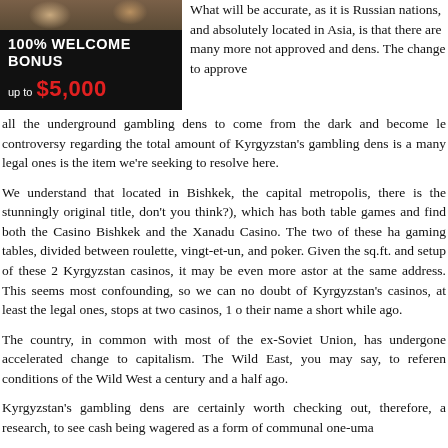[Figure (illustration): Casino advertisement banner with dark background showing '100% WELCOME BONUS up to $5,000' with photo of people at top]
What will be accurate, as it is Russian nations, and absolutely located in Asia, is that there are many more not approved and dens. The change to approve all the underground gambling dens to come from the dark and become le controversy regarding the total amount of Kyrgyzstan's gambling dens is a many legal ones is the item we're seeking to resolve here.
We understand that located in Bishkek, the capital metropolis, there is the stunningly original title, don't you think?), which has both table games and find both the Casino Bishkek and the Xanadu Casino. The two of these ha gaming tables, divided between roulette, vingt-et-un, and poker. Given the sq.ft. and setup of these 2 Kyrgyzstan casinos, it may be even more astor at the same address. This seems most confounding, so we can no doubt of Kyrgyzstan's casinos, at least the legal ones, stops at two casinos, 1 o their name a short while ago.
The country, in common with most of the ex-Soviet Union, has undergone accelerated change to capitalism. The Wild East, you may say, to referen conditions of the Wild West a century and a half ago.
Kyrgyzstan's gambling dens are certainly worth checking out, therefore, a research, to see cash being wagered as a form of communal one-uma